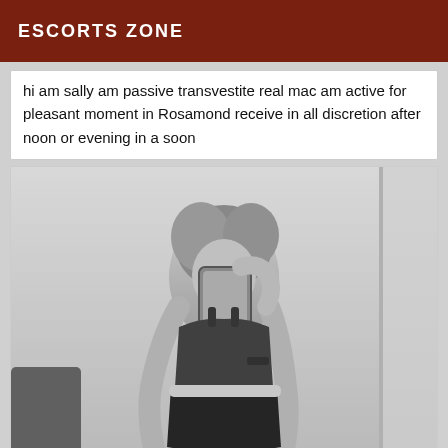ESCORTS ZONE
hi am sally am passive transvestite real mac am active for pleasant moment in Rosamond receive in all discretion after noon or evening in a soon
[Figure (photo): Black and white mirror selfie photo of a person with short blonde hair wearing a black crop top and dark underwear, holding a smartphone.]